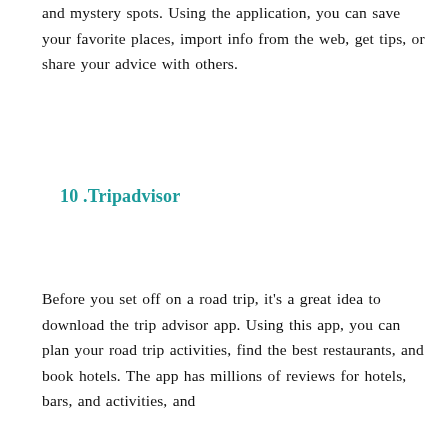and mystery spots. Using the application, you can save your favorite places, import info from the web, get tips, or share your advice with others.
10 .Tripadvisor
Before you set off on a road trip, it's a great idea to download the trip advisor app. Using this app, you can plan your road trip activities, find the best restaurants, and book hotels. The app has millions of reviews for hotels, bars, and activities, and